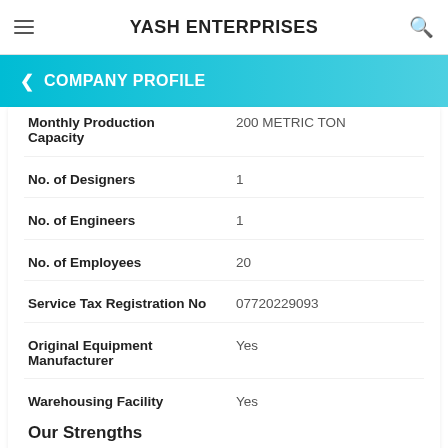YASH ENTERPRISES
COMPANY PROFILE
| Field | Value |
| --- | --- |
| Monthly Production Capacity | 200 METRIC TON |
| No. of Designers | 1 |
| No. of Engineers | 1 |
| No. of Employees | 20 |
| Service Tax Registration No | 07720229093 |
| Original Equipment Manufacturer | Yes |
| Warehousing Facility | Yes |
Our Strengths
Our faith in our business values have let us come a long way